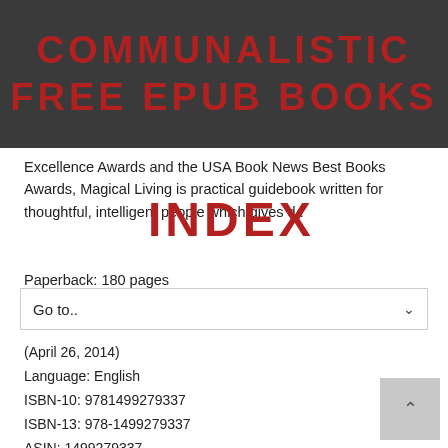COMMUNALISTIC FREE EPUB BOOKS INDEX
Excellence Awards and the USA Book News Best Books Awards, Magical Living is practical guidebook written for thoughtful, intelligent people which gives d..
Paperback: 180 pages
Go to..
(April 26, 2014)
Language: English
ISBN-10: 9781499279337
ISBN-13: 978-1499279337
ASIN: 1499279337
Product Dimensions: 5.5 x 0.4 x 8.5 inches
Amazon Rank: 2339155
Format: PDF Text djvu ebook